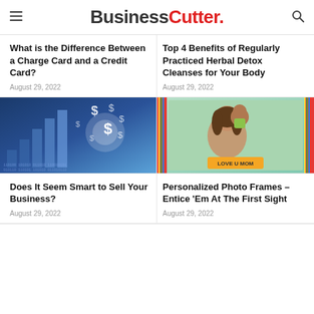BusinessCutter.
What is the Difference Between a Charge Card and a Credit Card?
August 29, 2022
Top 4 Benefits of Regularly Practiced Herbal Detox Cleanses for Your Body
August 29, 2022
[Figure (photo): Hand pointing at glowing dollar signs above rising bar chart, financial technology concept]
[Figure (photo): Mother and child sharing a hug outdoors, with colorful photo frame border and LOVE U MOM label]
Does It Seem Smart to Sell Your Business?
August 29, 2022
Personalized Photo Frames – Entice 'Em At The First Sight
August 29, 2022